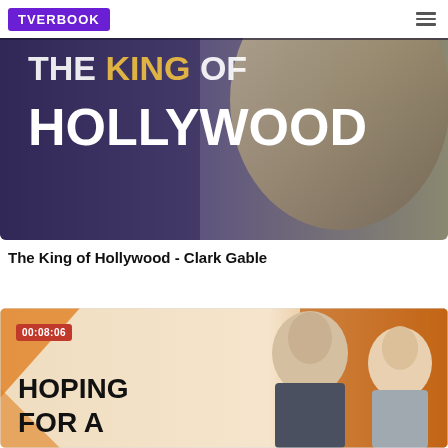TVERBOOK
[Figure (photo): Dark cinematic banner image showing 'THE KING OF HOLLYWOOD' text in white and yellow letters over a close-up of Clark Gable's face with dramatic lighting]
The King of Hollywood - Clark Gable
[Figure (photo): Video thumbnail with peach/orange background showing Clark Gable and a blonde woman (Carole Lombard) as cutout portraits, with text 'HOPING FOR A' in bold black letters and a red timestamp badge reading 00:08:06]